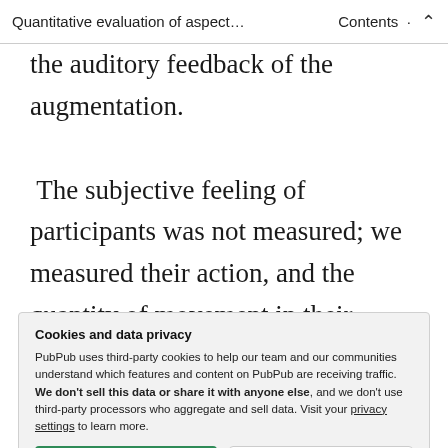Quantitative evaluation of aspect...    Contents   ↑
the auditory feedback of the augmentation.
The subjective feeling of participants was not measured; we measured their action, and the quantity of movement in their picking gesture. Evaluating to what extent players are experiencing a subconscious
Cookies and data privacy
PubPub uses third-party cookies to help our team and our communities understand which features and content on PubPub are receiving traffic. We don't sell this data or share it with anyone else, and we don't use third-party processors who aggregate and sell data. Visit your privacy settings to learn more.
[Accept] [Disable]
on an unfamiliar interface. The goal is not